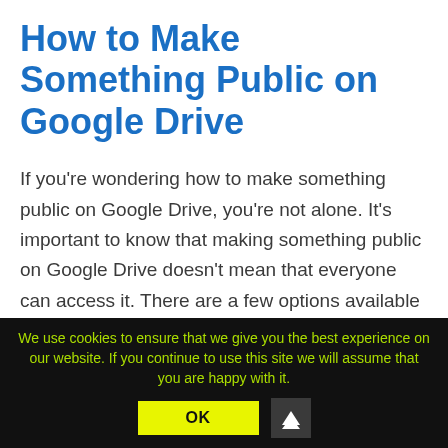How to Make Something Public on Google Drive
If you're wondering how to make something public on Google Drive, you're not alone. It's important to know that making something public on Google Drive doesn't mean that everyone can access it. There are a few options available to you. You can make a file “public” by selecting “public” in its settings. You can also make it “read-only” to restrict access only to those who have the right permissions.
We use cookies to ensure that we give you the best experience on our website. If you continue to use this site we will assume that you are happy with it. OK